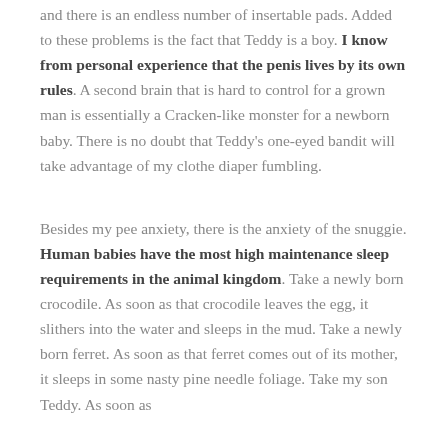and there is an endless number of insertable pads. Added to these problems is the fact that Teddy is a boy. I know from personal experience that the penis lives by its own rules. A second brain that is hard to control for a grown man is essentially a Cracken-like monster for a newborn baby. There is no doubt that Teddy's one-eyed bandit will take advantage of my clothe diaper fumbling.
Besides my pee anxiety, there is the anxiety of the snuggie. Human babies have the most high maintenance sleep requirements in the animal kingdom. Take a newly born crocodile. As soon as that crocodile leaves the egg, it slithers into the water and sleeps in the mud. Take a newly born ferret. As soon as that ferret comes out of its mother, it sleeps in some nasty pine needle foliage. Take my son Teddy. As soon as